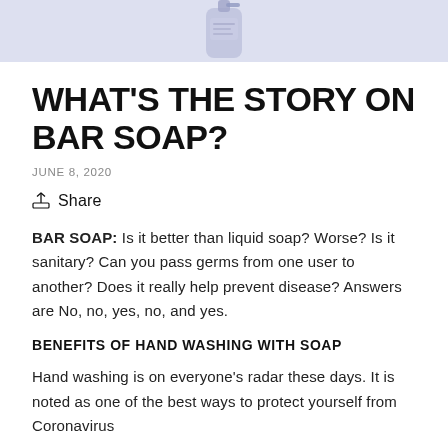[Figure (photo): Partial view of a soap bottle/dispenser with a light purple/lavender background at the top of the page]
WHAT'S THE STORY ON BAR SOAP?
JUNE 8, 2020
Share
BAR SOAP: Is it better than liquid soap? Worse? Is it sanitary? Can you pass germs from one user to another? Does it really help prevent disease? Answers are No, no, yes, no, and yes.
BENEFITS OF HAND WASHING WITH SOAP
Hand washing is on everyone's radar these days. It is noted as one of the best ways to protect yourself from Coronavirus (Covid-19) and a great way to avoid illness in general from...